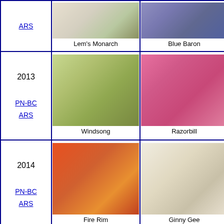| Year/Chapter | Plant 1 | Plant 2 | Plant 3 (partial) |
| --- | --- | --- | --- |
| ARS | Lem's Monarch | Blue Baron | (partial) |
| 2013
PN-BC ARS | Windsong | Razorbill | (partial) |
| 2014
PN-BC ARS | Fire Rim | Ginny Gee | (partial) |
| 2015
PN-BC | (red rhododendron) | (pink rhododendron) | (partial) |